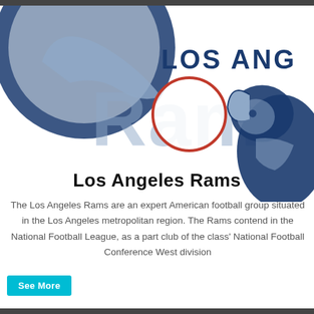[Figure (logo): Los Angeles Rams logo background — large blue circle with ram horns graphic and 'Rams' text in blue, plus a navy blue ram head illustration on the right side. A red-outlined circle highlight is overlaid in the center.]
Los Angeles Rams
The Los Angeles Rams are an expert American football group situated in the Los Angeles metropolitan region. The Rams contend in the National Football League, as a part club of the class' National Football Conference West division
See More